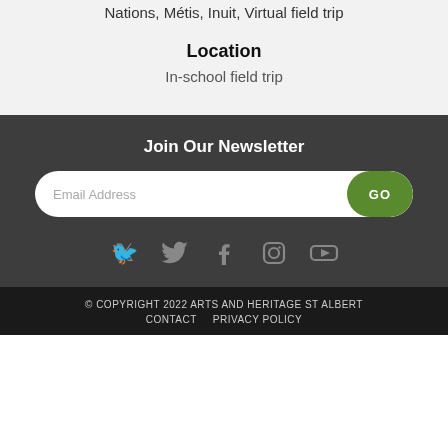Nations, Métis, Inuit, Virtual field trip
Location
In-school field trip
Join Our Newsletter
Email Address
[Figure (infographic): Social media icons: Twitter, Facebook, Instagram, YouTube]
© COPYRIGHT 2022 ARTS AND HERITAGE ST ALBERT
CONTACT    PRIVACY POLICY